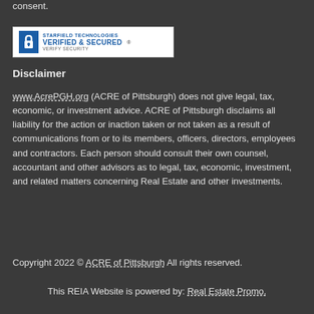consent.
[Figure (logo): Starfield Technologies Verified & Secured badge with blue lock icon]
Disclaimer
www.AcrePGH.org (ACRE of Pittsburgh) does not give legal, tax, economic, or investment advice. ACRE of Pittsburgh disclaims all liability for the action or inaction taken or not taken as a result of communications from or to its members, officers, directors, employees and contractors. Each person should consult their own counsel, accountant and other advisors as to legal, tax, economic, investment, and related matters concerning Real Estate and other investments.
Copyright 2022 © ACRE of Pittsburgh  All rights reserved.
This REIA Website is powered by: Real Estate Promo.